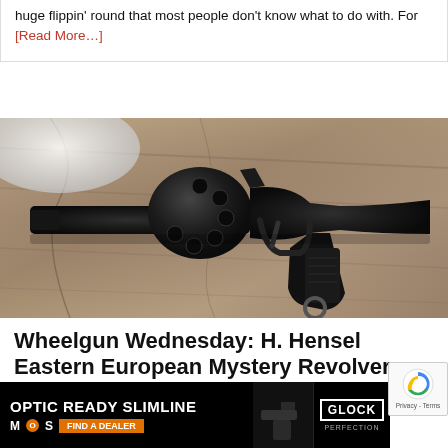huge flippin' round that most people don't know what to do with. For [Read More…]
[Figure (photo): Close-up photograph of a dark metal revolver handgun with a long barrel lying on weathered wood planks, viewed from above at an angle.]
Wheelgun Wednesday: H. Hensel Eastern European Mystery Revolver
Posted January 27, 2021 in Editorial, Revolver, Wheelgun Wednesday by Sam.S with 10 Comments
This w… opport… s
[Figure (advertisement): Glock advertisement banner reading 'OPTIC READY SLIMLINE' with MOS logo, 'FIND A DEALER' button in orange, and Glock logo with 'PERFECTION' tagline, showing a Glock pistol.]